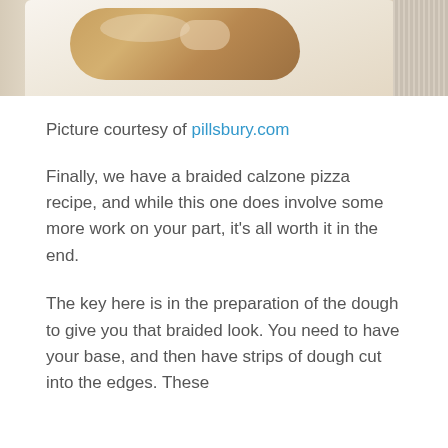[Figure (photo): Partial view of a braided calzone on a white plate with a woven mat in the background]
Picture courtesy of pillsbury.com
Finally, we have a braided calzone pizza recipe, and while this one does involve some more work on your part, it's all worth it in the end.
The key here is in the preparation of the dough to give you that braided look. You need to have your base, and then have strips of dough cut into the edges. These